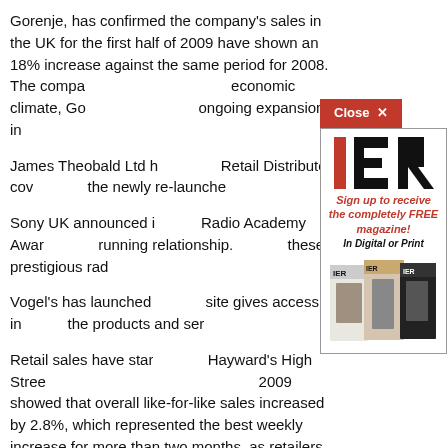Gorenje, has confirmed the company's sales in the UK for the first half of 2009 have shown an 18% increase against the same period for 2008. The company confirmed that despite a challenging economic climate, Gorenje is continuing with its plans for ongoing expansion in
James Theobald Ltd has been appointed as Gorenje's exclusive Retail Distributor, covering London and the South East, for the newly re-launched
Sony UK announced it has won a Sony Music sponsorship at the Radio Academy Awards, renewing its existing long running relationship. Sony UK has been the proud sponsor of these prestigious rad
Vogel's has launched a new B2B website. The new website site gives access to in-depth information about all of the products and ser
Retail sales have started to pick up again according to Hayward's High Street Update. The week ending 12 July 2009 showed that overall like-for-like sales increased by 2.8%, which represented the best weekly increase for more than two months, as retailers benefited from higher footfall levels and more
[Figure (advertisement): IER magazine advertisement with logo, red and black text 'Sign up to receive the completely FREE magazine! In Digital or Print', with magazine cover images shown below]